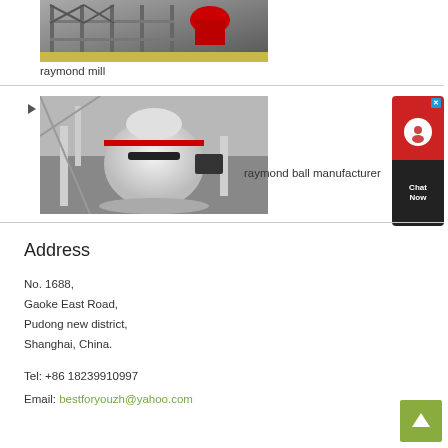[Figure (photo): Photo of a raymond mill industrial machine in a factory setting with grey metal frame structures]
raymond mill
[Figure (photo): Photo of a large white raymond ball mill industrial machine in a factory with pipes and mechanical components]
raymond ball manufacturer
Address
No. 1688,
Gaoke East Road,
Pudong new district,
Shanghai, China.
Tel: +86 18239910997
Email: bestforyouzh@yahoo.com